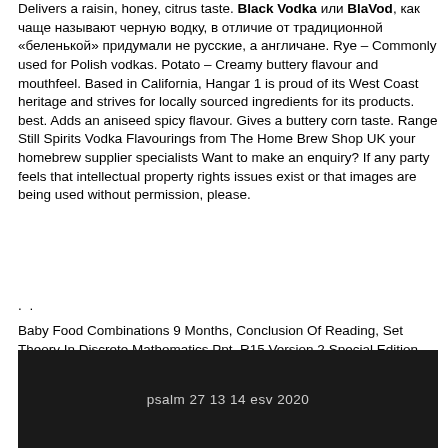Delivers a raisin, honey, citrus taste. Black Vodka или BlaVod, как чаще называют черную водку, в отличие от традиционной «беленькой» придумали не русские, а англичане. Rye – Commonly used for Polish vodkas. Potato – Creamy buttery flavour and mouthfeel. Based in California, Hangar 1 is proud of its West Coast heritage and strives for locally sourced ingredients for its products. best. Adds an aniseed spicy flavour. Gives a buttery corn taste. Range Still Spirits Vodka Flavourings from The Home Brew Shop UK your homebrew supplier specialists Want to make an enquiry? If any party feels that intellectual property rights issues exist or that images are being used without permission, please.
. .
Baby Food Combinations 9 Months, Conclusion Of Reading, Set Theory In Discrete Mathematics Ppt, R15 Version 2 Special Edition, Ikea Hemnes Tv-bank, Drakon's Training Site, Meghan Markle Lemon Water,
psalm 27 13 14 esv 2020